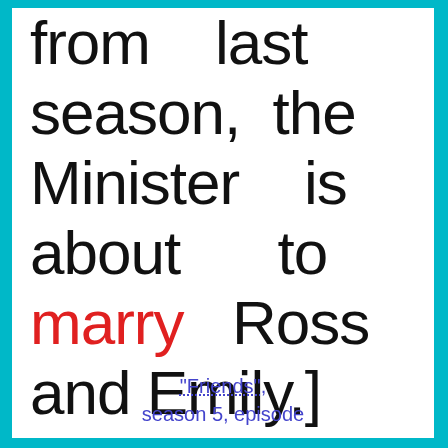from last season, the Minister is about to marry Ross and Emily.]
"Friends", season 5, episode